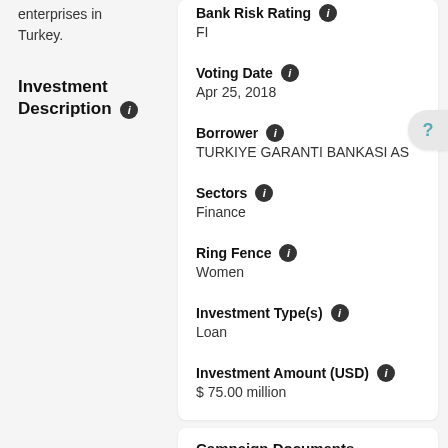enterprises in Turkey.
Investment Description
Bank Risk Rating: FI
Voting Date: Apr 25, 2018
Borrower: TURKIYE GARANTI BANKASI AS
Sectors: Finance
Ring Fence: Women
Investment Type(s): Loan
Investment Amount (USD): $ 75.00 million
Campaign Documents